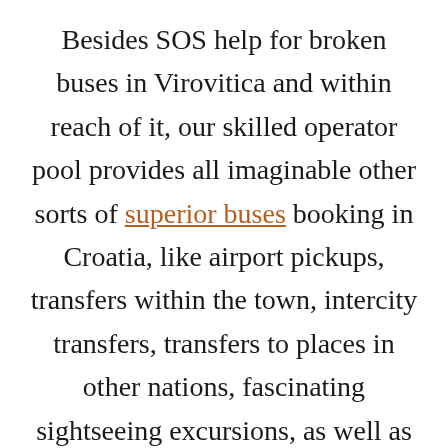Besides SOS help for broken buses in Virovitica and within reach of it, our skilled operator pool provides all imaginable other sorts of superior buses booking in Croatia, like airport pickups, transfers within the town, intercity transfers, transfers to places in other nations, fascinating sightseeing excursions, as well as international discovery trips incorporating a chauffeur. What is more, our committed personnel is